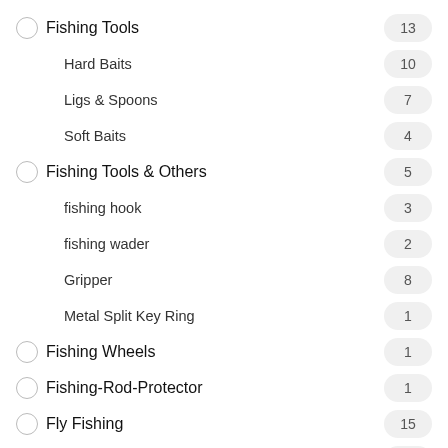Fishing Tools 13
Hard Baits 10
Ligs & Spoons 7
Soft Baits 4
Fishing Tools & Others 5
fishing hook 3
fishing wader 2
Gripper 8
Metal Split Key Ring 1
Fishing Wheels 1
Fishing-Rod-Protector 1
Fly Fishing 15
Lures 9
Plier 2
Terminal Tackle 8